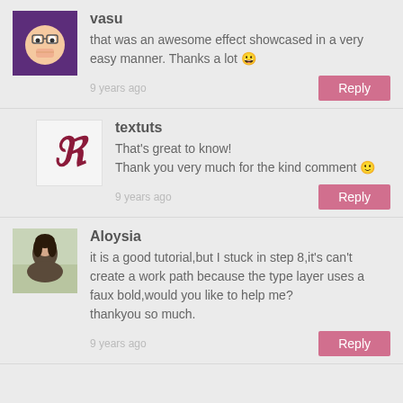vasu
that was an awesome effect showcased in a very easy manner. Thanks a lot 😀
9 years ago
Reply
textuts
That's great to know!
Thank you very much for the kind comment 🙂
9 years ago
Reply
Aloysia
it is a good tutorial,but I stuck in step 8,it's can't create a work path because the type layer uses a faux bold,would you like to help me?
thankyou so much.
9 years ago
Reply